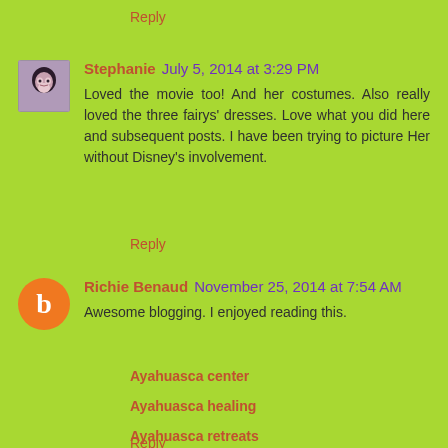Reply
Stephanie  July 5, 2014 at 3:29 PM
Loved the movie too! And her costumes. Also really loved the three fairys' dresses. Love what you did here and subsequent posts. I have been trying to picture Her without Disney's involvement.
Reply
Richie Benaud  November 25, 2014 at 7:54 AM
Awesome blogging. I enjoyed reading this.
Ayahuasca center
Ayahuasca healing
Ayahuasca retreats
Reply